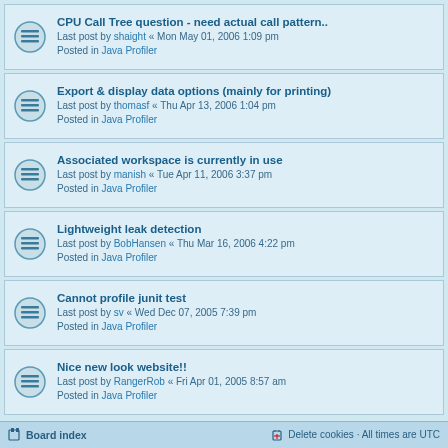CPU Call Tree question - need actual call pattern.. | Last post by shaight « Mon May 01, 2006 1:09 pm | Posted in Java Profiler
Export & display data options (mainly for printing) | Last post by thomasf « Thu Apr 13, 2006 1:04 pm | Posted in Java Profiler
Associated workspace is currently in use | Last post by manish « Tue Apr 11, 2006 3:37 pm | Posted in Java Profiler
Lightweight leak detection | Last post by BobHansen « Thu Mar 16, 2006 4:22 pm | Posted in Java Profiler
Cannot profile junit test | Last post by sv « Wed Dec 07, 2005 7:39 pm | Posted in Java Profiler
Nice new look website!! | Last post by RangerRob « Fri Apr 01, 2005 8:57 am | Posted in Java Profiler
Search found 58 matches  1  2  >
Jump to
Board index   Delete cookies · All times are UTC